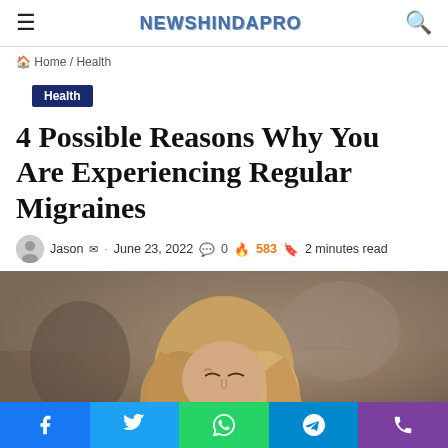NEWSHINDAPRO
Home / Health
Health
4 Possible Reasons Why You Are Experiencing Regular Migraines
Jason · June 23, 2022  0  583  2 minutes read
[Figure (photo): Woman with eyes closed, appearing to have a headache or migraine, in an office or public setting with blurred background]